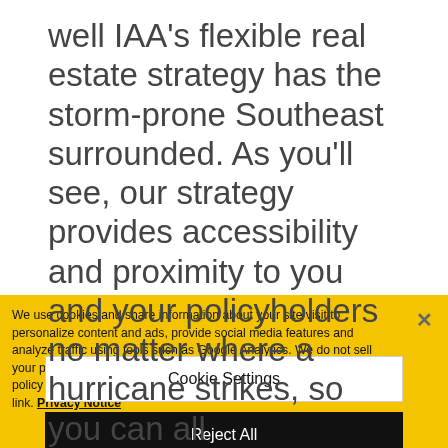well IAA's flexible real estate strategy has the storm-prone Southeast surrounded. As you'll see, our strategy provides accessibility and proximity to you and your policyholders no matter where a hurricane strikes, so you can all
We use cookies and share information about your site visit to personalize content and ads, provide social media features and analyze traffic using tools such as Google Analytics. We do not sell your personal information. You can view our privacy notice, cookie policy and how to exercise your rights by clicking the following link. Privacy Notice
Cookie Settings
Reject All
Accept Cookies